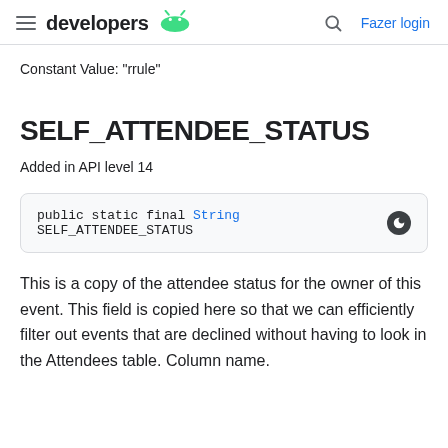developers  Fazer login
Constant Value: "rrule"
SELF_ATTENDEE_STATUS
Added in API level 14
public static final String SELF_ATTENDEE_STATUS
This is a copy of the attendee status for the owner of this event. This field is copied here so that we can efficiently filter out events that are declined without having to look in the Attendees table. Column name.